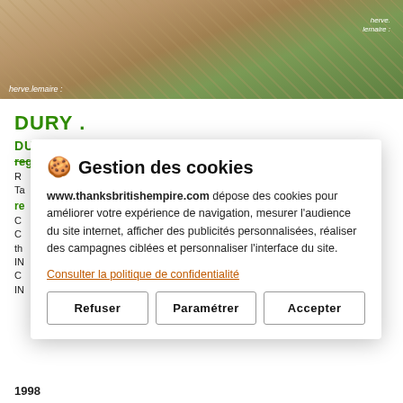[Figure (photo): Aerial view of Dury landscape with fields and vegetation, photo credit herve.lemaire]
DURY .
DURY  MILL CEMETERY   336 CORPS .
regiments britanniques :
R...
Ta...
re...
C...
C...
th...
IN...
C...
IN...
1998
[Figure (screenshot): Cookie consent modal dialog: Gestion des cookies. www.thanksbritishempire.com dépose des cookies pour améliorer votre expérience de navigation, mesurer l'audience du site internet, afficher des publicités personnalisées, réaliser des campagnes ciblées et personnaliser l'interface du site. Consulter la politique de confidentialité. Buttons: Refuser, Paramétrer, Accepter.]